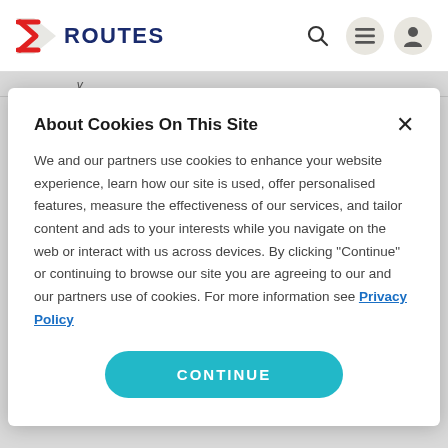ROUTES
About Cookies On This Site
We and our partners use cookies to enhance your website experience, learn how our site is used, offer personalised features, measure the effectiveness of our services, and tailor content and ads to your interests while you navigate on the web or interact with us across devices. By clicking "Continue" or continuing to browse our site you are agreeing to our and our partners use of cookies. For more information see Privacy Policy
CONTINUE